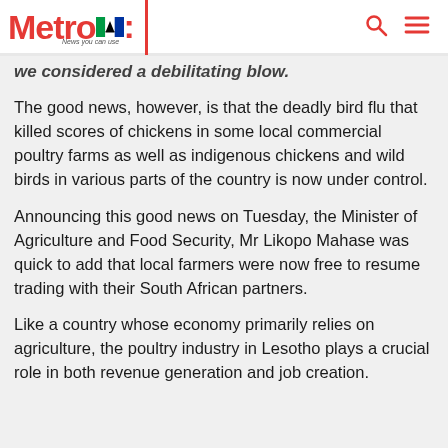Metro — News you can use
...we considered a debilitating blow.
The good news, however, is that the deadly bird flu that killed scores of chickens in some local commercial poultry farms as well as indigenous chickens and wild birds in various parts of the country is now under control.
Announcing this good news on Tuesday, the Minister of Agriculture and Food Security, Mr Likopo Mahase was quick to add that local farmers were now free to resume trading with their South African partners.
Like a country whose economy primarily relies on agriculture, the poultry industry in Lesotho plays a crucial role in both revenue generation and job creation.